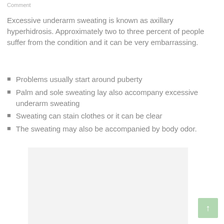Comment
Excessive underarm sweating is known as axillary hyperhidrosis. Approximately two to three percent of people suffer from the condition and it can be very embarrassing.
Problems usually start around puberty
Palm and sole sweating lay also accompany excessive underarm sweating
Sweating can stain clothes or it can be clear
The sweating may also be accompanied by body odor.
[Figure (photo): Light grey placeholder image area below the list items]